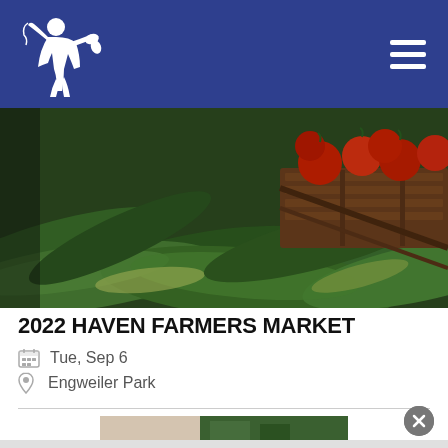2022 Haven Farmers Market – website header with logo and hamburger menu
[Figure (photo): Close-up photo of fresh green cucumbers and tomatoes in a wooden crate at a farmers market]
2022 HAVEN FARMERS MARKET
Tue, Sep 6
Engweiler Park
[Figure (photo): Partial view of a second farmers market photo showing market stalls and green items]